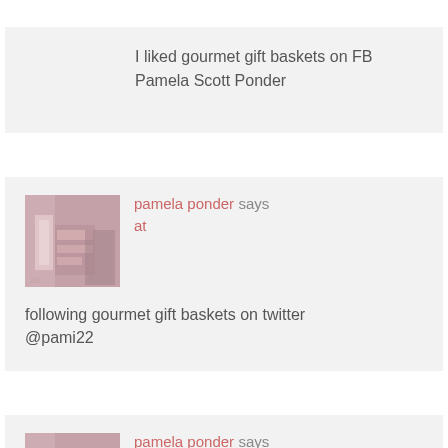I liked gourmet gift baskets on FB
Pamela Scott Ponder
pamela ponder says
at
following gourmet gift baskets on twitter
@pami22
pamela ponder says